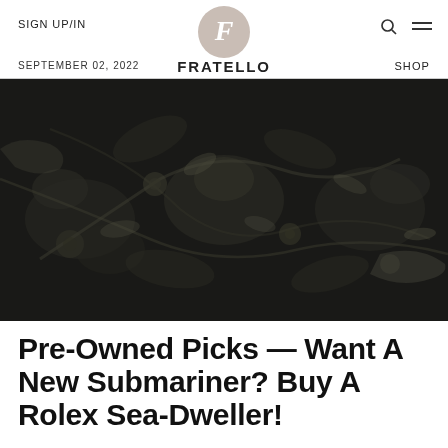SIGN UP/IN  FRATELLO  SHOP
SEPTEMBER 02, 2022
[Figure (photo): Close-up photograph of a dark ornate textile or rug with floral and botanical patterns in grey and olive tones on a near-black background]
Pre-Owned Picks — Want A New Submariner? Buy A Rolex Sea-Dweller!